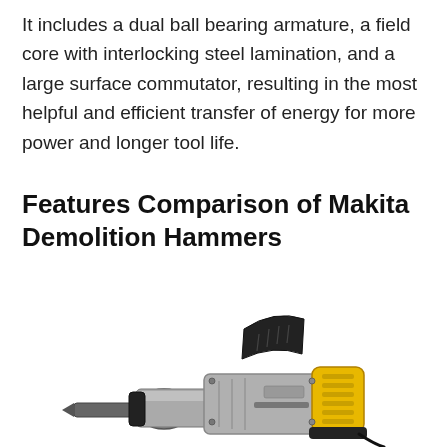It includes a dual ball bearing armature, a field core with interlocking steel lamination, and a large surface commutator, resulting in the most helpful and efficient transfer of energy for more power and longer tool life.
Features Comparison of Makita Demolition Hammers
[Figure (photo): Photo of a Makita demolition hammer with silver body and yellow handle grip, shown at an angle.]